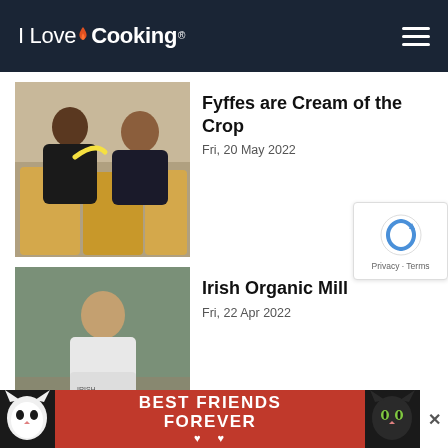I Love Cooking
[Figure (photo): Two women posing with bananas and banana boxes in a warehouse setting]
Fyffes are Cream of the Crop
Fri, 20 May 2022
[Figure (photo): Man in white lab coat holding a bag of Irish Organic Mill product outdoors]
Irish Organic Mill
Fri, 22 Apr 2022
[Figure (screenshot): reCAPTCHA widget with Privacy and Terms links]
[Figure (infographic): Advertisement banner reading BEST FRIENDS FOREVER with cat photos on dark red background]